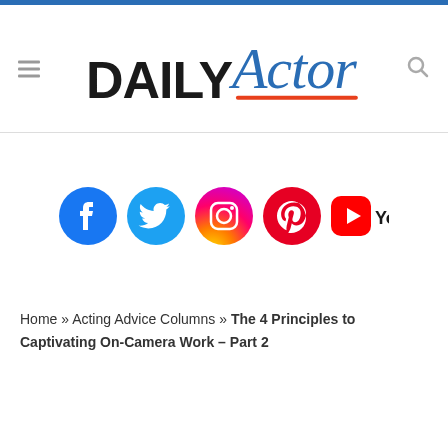Daily Actor
[Figure (logo): Daily Actor website logo with DAILY in bold black and Actor in blue italic script with orange underline]
[Figure (infographic): Social media icons row: Facebook, Twitter, Instagram, Pinterest, YouTube]
Home » Acting Advice Columns » The 4 Principles to Captivating On-Camera Work – Part 2